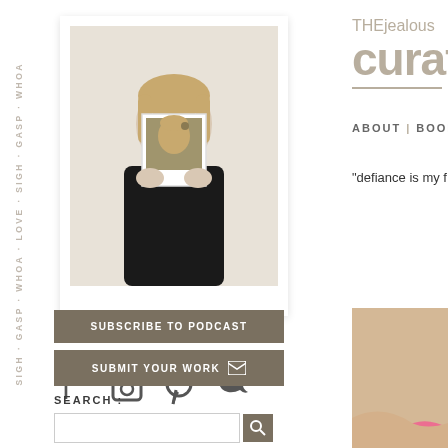[Figure (other): Vertical sidebar with repeated text: SIGH GASP WHOA LOVE SIGH GASP WHOA rotated 90 degrees]
[Figure (photo): Polaroid-style photo of a woman in a black top holding a small photo in front of her face, against a light background]
[Figure (other): Social media icons row: Facebook, Instagram, Pinterest, Twitter]
SUBSCRIBE TO PODCAST
SUBMIT YOUR WORK
SEARCH :
THEjealous curato
ABOUT | BOOKS
“defiance is my f
[Figure (photo): Bottom right corner image showing warm beige/tan tones with a pink curved shape]